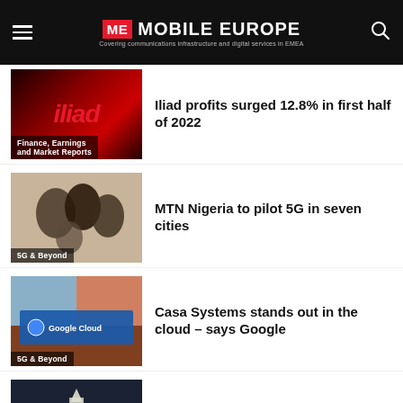MOBILE EUROPE — Covering communications infrastructure and digital services in EMEA
Iliad profits surged 12.8% in first half of 2022
MTN Nigeria to pilot 5G in seven cities
Casa Systems stands out in the cloud – says Google
SpaceX and T-Mobile to attack the smart phone dead zone from space